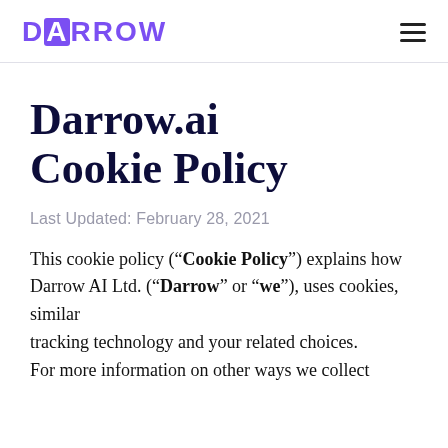DARROW
Darrow.ai Cookie Policy
Last Updated: February 28, 2021
This cookie policy (“Cookie Policy”) explains how Darrow AI Ltd. (“Darrow” or “we”), uses cookies, similar tracking technology and your related choices. For more information on other ways we collect